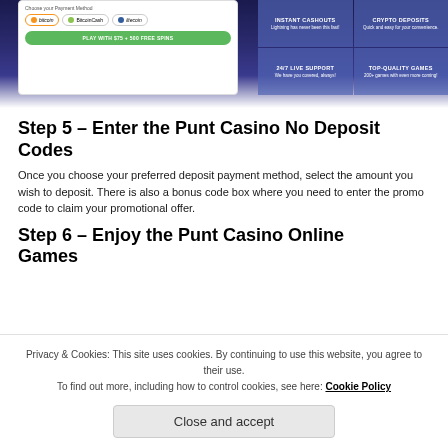[Figure (screenshot): Screenshot of Punt Casino website showing payment method selection (Bitcoin, BitcoinCash, Litecoin), a green 'PLAY WITH $75 + 500 FREE SPINS' button, and a dark blue feature grid with Instant Cashouts, Crypto Deposits, 24/7 Live Support, Top-Quality Games panels.]
Step 5 – Enter the Punt Casino No Deposit Codes
Once you choose your preferred deposit payment method, select the amount you wish to deposit. There is also a bonus code box where you need to enter the promo code to claim your promotional offer.
Step 6 – Enjoy the Punt Casino Online Games
Privacy & Cookies: This site uses cookies. By continuing to use this website, you agree to their use.
To find out more, including how to control cookies, see here: Cookie Policy
Close and accept